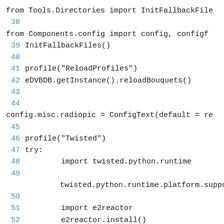from Tools.Directories import InitFallbackFile
   38
from Components.config import config, configf
  39 InitFallbackFiles()
  40
  41 profile("ReloadProfiles")
  42 eDVBDB.getInstance().reloadBouquets()
  43
  44
config.misc.radiopic = ConfigText(default = re
  45
  46 profile("Twisted")
  47 try:
  48         import twisted.python.runtime
  49
            twisted.python.runtime.platform.suppo
  50
  51         import e2reactor
  52         e2reactor.install()
  53